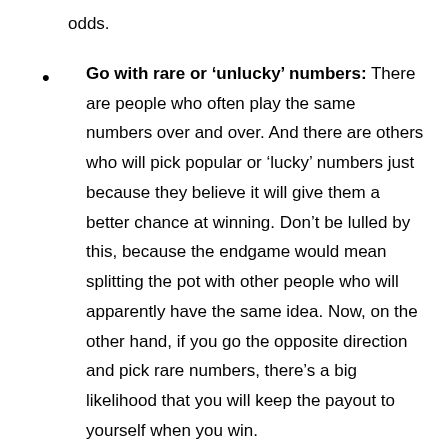odds.
Go with rare or ‘unlucky’ numbers: There are people who often play the same numbers over and over. And there are others who will pick popular or ‘lucky’ numbers just because they believe it will give them a better chance at winning. Don’t be lulled by this, because the endgame would mean splitting the pot with other people who will apparently have the same idea. Now, on the other hand, if you go the opposite direction and pick rare numbers, there’s a big likelihood that you will keep the payout to yourself when you win.
Play second-chance tickets: Did you know that